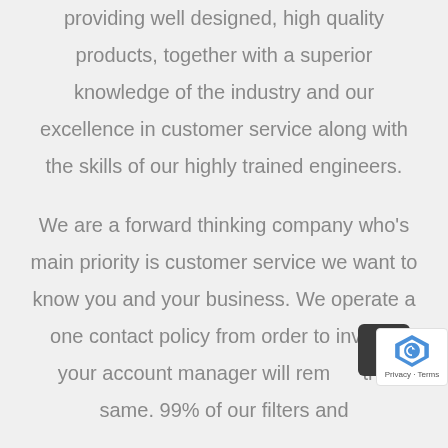providing well designed, high quality products, together with a superior knowledge of the industry and our excellence in customer service along with the skills of our highly trained engineers.
We are a forward thinking company who's main priority is customer service we want to know you and your business. We operate a one contact policy from order to invoice your account manager will remain the same. 99% of our filters and